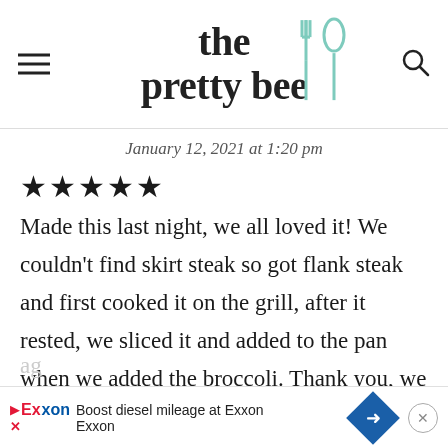the pretty bee
January 12, 2021 at 1:20 pm
★★★★★
Made this last night, we all loved it! We couldn't find skirt steak so got flank steak and first cooked it on the grill, after it rested, we sliced it and added to the pan when we added the broccoli. Thank you, we will be making it ag...
Boost diesel mileage at Exxon Exxon